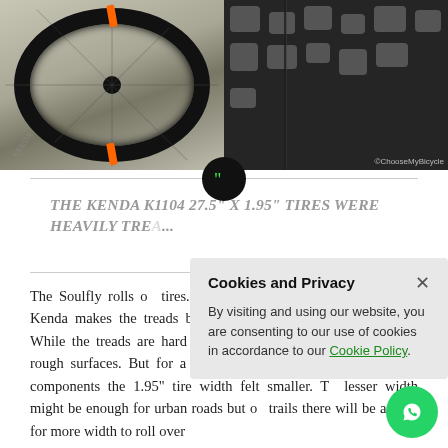[Figure (photo): Two photos side by side: left shows a bicycle wheel against a wooden background; right shows a close-up of a heavily treaded mountain bike tire with knobby pattern. Copyright ©ChooseMyBicycle visible.]
THE KENDA K1104 27.5" X 1.95" TIRES WERE HEAVILY TRE...
The Soulfly rolls on... tires. The 50-fifty casing technology from Kenda makes the treads bulky, strong and equally spaced out. While the treads are hard and bulky giving enough traction on rough surfaces. But for a MTB with such performance packed components the 1.95" tire width felt smaller. The lesser width might be enough for urban roads but on trails there will be a need for more width to roll over...
[Figure (screenshot): Cookies and Privacy consent popup overlay: 'By visiting and using our website, you are consenting to our use of cookies in accordance to our Cookie Policy.']